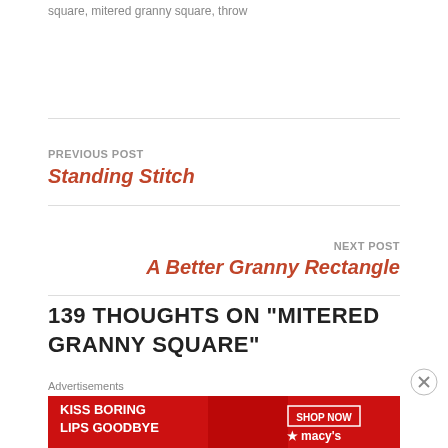square, mitered granny square, throw
PREVIOUS POST
Standing Stitch
NEXT POST
A Better Granny Rectangle
139 THOUGHTS ON “MITERED GRANNY SQUARE”
Advertisements
[Figure (other): Advertisement banner: KISS BORING LIPS GOODBYE with SHOP NOW button and Macy's logo on red background]